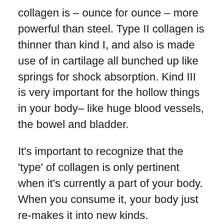collagen is – ounce for ounce – more powerful than steel. Type II collagen is thinner than kind I, and also is made use of in cartilage all bunched up like springs for shock absorption. Kind III is very important for the hollow things in your body– like huge blood vessels, the bowel and bladder.
It's important to recognize that the 'type' of collagen is only pertinent when it's currently a part of your body. When you consume it, your body just re-makes it into new kinds.
Collagen is so huge as well as tough that we can not absorb it 'as is' when we eat it. What we can do though, is 'hydrolyze' the collagen, which indicates it's broken down right into a lot smaller items (' peptides') by